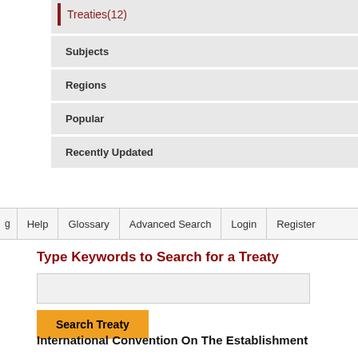Treaties(12)
Subjects
Regions
Popular
Recently Updated
Help | Glossary | Advanced Search | Login | Register
Type Keywords to Search for a Treaty
Search Treaty
International Convention On The Establishment